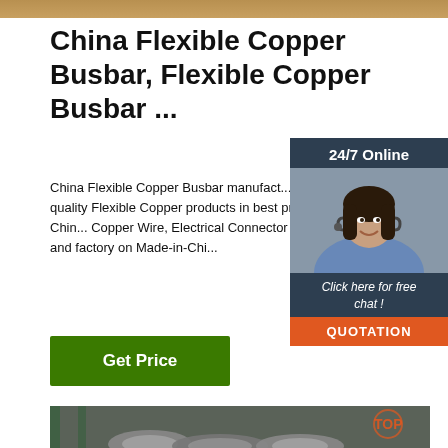[Figure (photo): Top decorative image bar with metallic/copper tone]
China Flexible Copper Busbar, Flexible Copper Busbar ...
China Flexible Copper Busbar manufacturers - Select 2021 high quality Flexible Copper products in best price from certified China Copper Wire, Electrical Connector suppliers, wholesalers and factory on Made-in-Chi...
[Figure (photo): Customer service widget: dark blue panel with '24/7 Online' header, photo of a smiling woman with headset, 'Click here for free chat!' text, and orange QUOTATION button]
[Figure (photo): Get Price green button]
[Figure (photo): Bottom image showing coils of wire/cable in an industrial warehouse setting with a TOP logo overlay]